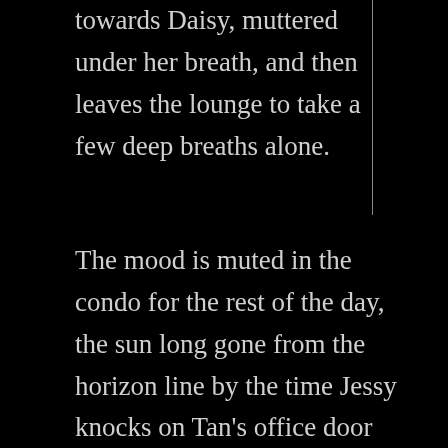towards Daisy, muttered under her breath, and then leaves the lounge to take a few deep breaths alone.
The mood is muted in the condo for the rest of the day, the sun long gone from the horizon line by the time Jessy knocks on Tan's office door and invites herself in. He is warmer to her now, almost as if nothing happened. Jessy tries to apologize again, feigning a modicum of sincerity even though she knows Tan isn't buying it. She explains again that she did it to try and follow Tan's example, and that she feels terrible that everything went wrong. Jessy reveals that the ring must have had something to do with it, that it takes people places but she can't understand why. Wilma wanted the ring to get